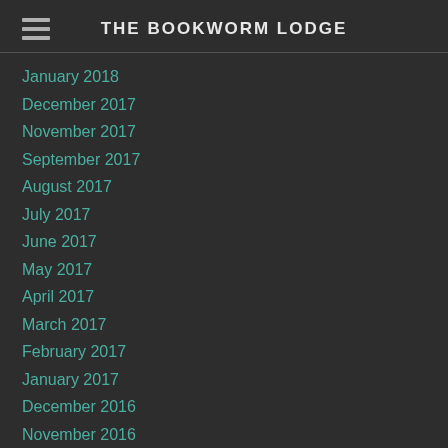THE BOOKWORM LODGE
January 2018
December 2017
November 2017
September 2017
August 2017
July 2017
June 2017
May 2017
April 2017
March 2017
February 2017
January 2017
December 2016
November 2016
October 2016
September 2016
August 2016